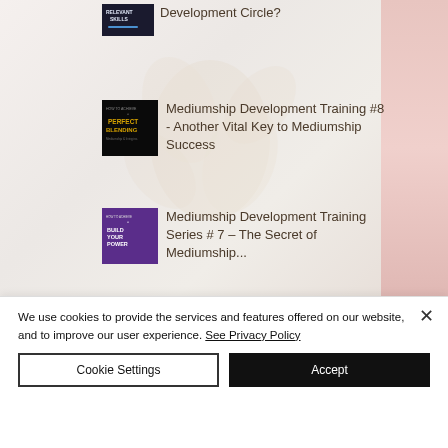Development Circle?
[Figure (illustration): Thumbnail for Perfect Blending mediumship video - black background with gold text 'PERFECT BLENDING']
Mediumship Development Training #8 - Another Vital Key to Mediumship Success
[Figure (illustration): Thumbnail for Build Your Power mediumship video - purple background with white text 'BUILD YOUR POWER']
Mediumship Development Training Series # 7 – The Secret of Mediumship...
We use cookies to provide the services and features offered on our website, and to improve our user experience. See Privacy Policy
Cookie Settings
Accept